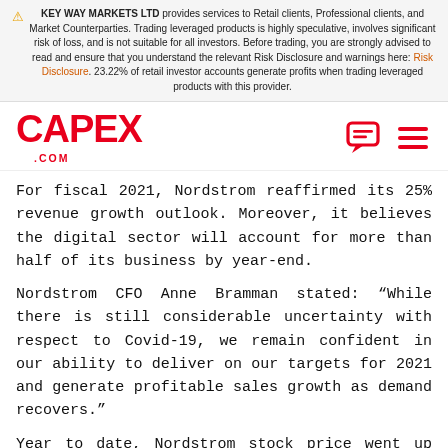KEY WAY MARKETS LTD provides services to Retail clients, Professional clients, and Market Counterparties. Trading leveraged products is highly speculative, involves significant risk of loss, and is not suitable for all investors. Before trading, you are strongly advised to read and ensure that you understand the relevant Risk Disclosure and warnings here: Risk Disclosure. 23.22% of retail investor accounts generate profits when trading leveraged products with this provider.
[Figure (logo): CAPEX.COM logo in red with a chat icon and hamburger menu icon on the right]
For fiscal 2021, Nordstrom reaffirmed its 25% revenue growth outlook. Moreover, it believes the digital sector will account for more than half of its business by year-end.
Nordstrom CFO Anne Bramman stated: “While there is still considerable uncertainty with respect to Covid-19, we remain confident in our ability to deliver on our targets for 2021 and generate profitable sales growth as demand recovers.”
Year to date, Nordstrom stock price went up about 17%, pushing its market cap to $5.8 billion.
Sources: cnbc.com, thestreet.com